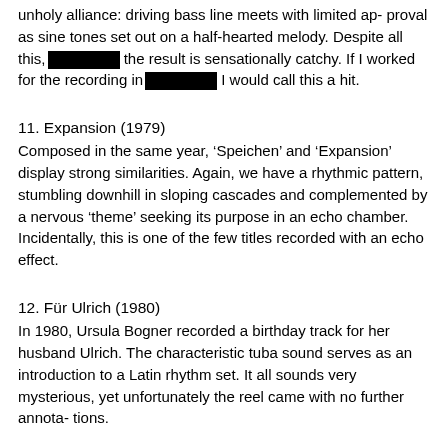unholy alliance: driving bass line meets with limited ap- proval as sine tones set out on a half-hearted melody. Despite all this, [REDACTED] the result is sensationally catchy. If I worked for the recording in[REDACTED] I would call this a hit.
11. Expansion (1979)
Composed in the same year, ‘Speichen’ and ‘Expansion’ display strong similarities. Again, we have a rhythmic pattern, stumbling downhill in sloping cascades and complemented by a nervous ‘theme’ seeking its purpose in an echo chamber. Incidentally, this is one of the few titles recorded with an echo effect.
12. Für Ulrich (1980)
In 1980, Ursula Bogner recorded a birthday track for her husband Ulrich. The characteristic tuba sound serves as an introduction to a Latin rhythm set. It all sounds very mysterious, yet unfortunately the reel came with no further annota- tions.
13. Pulsation (1969)
‘Pulsation’ predates all other titles on this compilation. A term taken from microbiology, this was one of Wilhelm Reich’s main fields of research. Reich often referred to the ‘rhythmicity’ of primitive life.